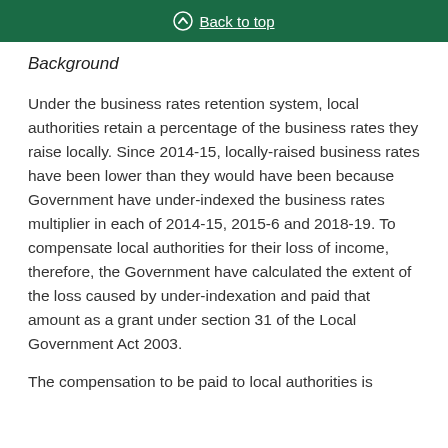Back to top
Background
Under the business rates retention system, local authorities retain a percentage of the business rates they raise locally. Since 2014-15, locally-raised business rates have been lower than they would have been because Government have under-indexed the business rates multiplier in each of 2014-15, 2015-6 and 2018-19. To compensate local authorities for their loss of income, therefore, the Government have calculated the extent of the loss caused by under-indexation and paid that amount as a grant under section 31 of the Local Government Act 2003.
The compensation to be paid to local authorities is